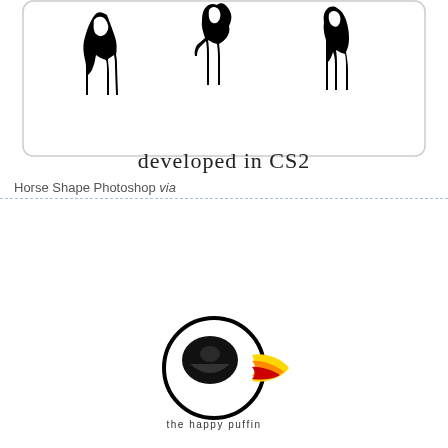[Figure (illustration): Horse silhouettes (three black horse figures in motion) inside a rounded rectangle border, with text 'developed in CS2' below the border]
Horse Shape Photoshop via
[Figure (logo): The Happy Puffin logo: a circular puffin illustration in black outline with yellow, orange, and red beak/face markings, and text 'the happy puffin' below]